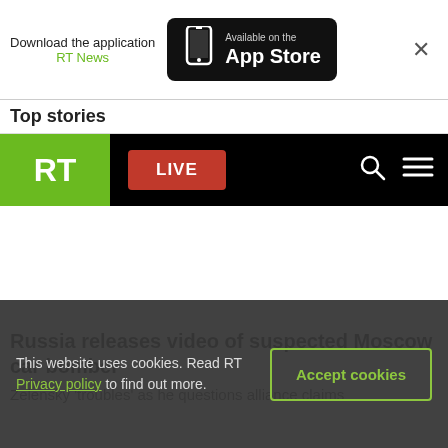[Figure (screenshot): App store banner: 'Download the application RT News – Available on the App Store' with phone icon and close X button]
Top stories
[Figure (logo): RT news website navigation bar: green RT logo, red LIVE button, search and hamburger menu icons on black background]
Russia releases video of suspected Moscow car bomber
Zelensky 'troubles' as he questions alliance claims
This website uses cookies. Read RT Privacy policy to find out more.
Accept cookies